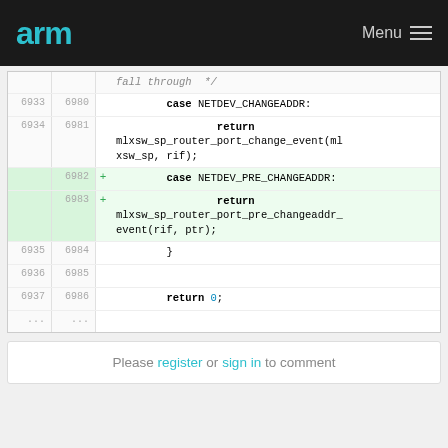arm  Menu
[Figure (screenshot): Code diff viewer showing C source code lines 6933-6987 with added lines 6982-6983 highlighted in green. Shows case NETDEV_CHANGEADDR, return mlxsw_sp_router_port_change_event, case NETDEV_PRE_CHANGEADDR (added), return mlxsw_sp_router_port_pre_changeaddr_event(rif, ptr) (added), closing brace, blank line, and return 0;]
Please register or sign in to comment